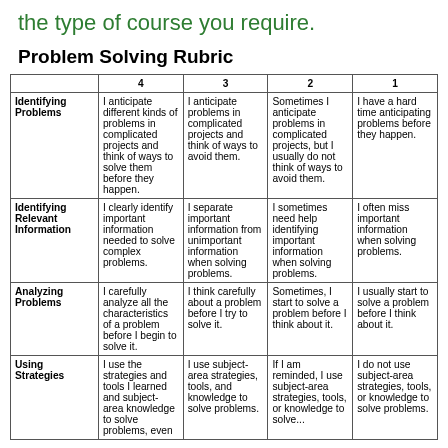the type of course you require.
Problem Solving Rubric
|  | 4 | 3 | 2 | 1 |
| --- | --- | --- | --- | --- |
| Identifying Problems | I anticipate different kinds of problems in complicated projects and think of ways to solve them before they happen. | I anticipate problems in complicated projects and think of ways to avoid them. | Sometimes I anticipate problems in complicated projects, but I usually do not think of ways to avoid them. | I have a hard time anticipating problems before they happen. |
| Identifying Relevant Information | I clearly identify important information needed to solve complex problems. | I separate important information from unimportant information when solving problems. | I sometimes need help identifying important information when solving problems. | I often miss important information when solving problems. |
| Analyzing Problems | I carefully analyze all the characteristics of a problem before I begin to solve it. | I think carefully about a problem before I try to solve it. | Sometimes, I start to solve a problem before I think about it. | I usually start to solve a problem before I think about it. |
| Using Strategies | I use the strategies and tools I learned and subject-area knowledge to solve problems, even... | I use subject-area strategies, tools, and knowledge to solve problems. | If I am reminded, I use subject-area strategies, tools, or knowledge to solve... | I do not use subject-area strategies, tools, or knowledge to solve problems. |